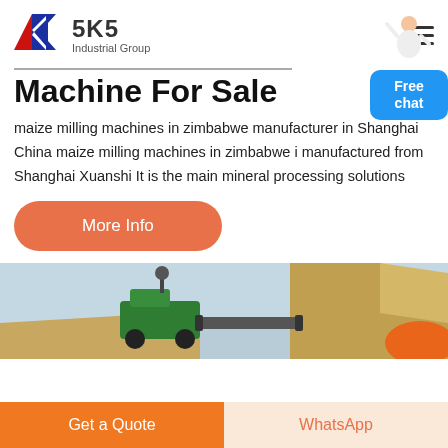[Figure (logo): SKS Industrial Group logo with red and blue K chevron mark and brand text]
Machine For Sale
maize milling machines in zimbabwe manufacturer in Shanghai China maize milling machines in zimbabwe i manufactured from Shanghai Xuanshi It is the main mineral processing solutions
[Figure (photo): Photo of maize milling machinery in the field with grain being poured]
Get a Quote
WhatsApp